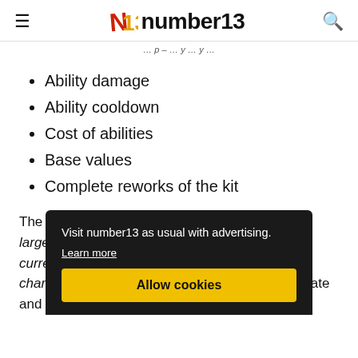number13
(truncated breadcrumb/navigation text)
Ability damage
Ability cooldown
Cost of abilities
Base values
Complete reworks of the kit
The nerfs and buffs of these characteristics are largely responsible for whether a champion is currently perceived as 'good' or 'bad'. Strong champions are characterized by a high winning rate and are accordingly picked more often.
Visit number13 as usual with advertising.
Learn more
Allow cookies